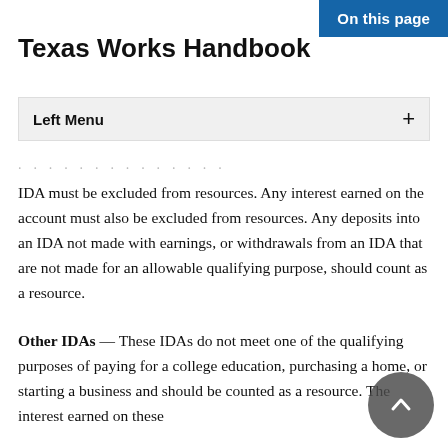On this page
Texas Works Handbook
Left Menu
IDA must be excluded from resources. Any interest earned on the account must also be excluded from resources. Any deposits into an IDA not made with earnings, or withdrawals from an IDA that are not made for an allowable qualifying purpose, should count as a resource.
Other IDAs — These IDAs do not meet one of the qualifying purposes of paying for a college education, purchasing a home, or starting a business and should be counted as a resource. The interest earned on these